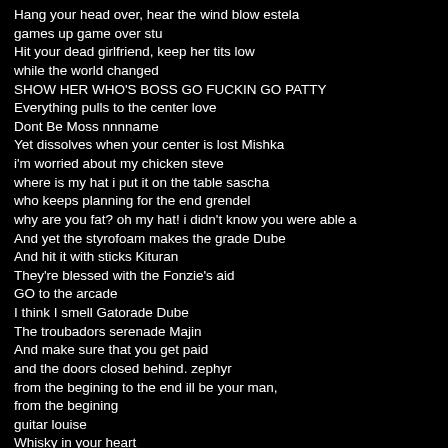Hang your head over, hear the wind blow estela
games up game over stu
Hit your dead girlfriend, keep her tits low
while the world changed
SHOW HER WHO'S BOSS GO FUCKIN GO PATTY
Everything pulls to the center love
Dont Be Moss nnnname
Yet dissolves when your center is lost Mishka
i'm worried about my chicken steve
where is my hat i put it on the table sascha
who keeps planning for the end grendel
why are you fat? oh my hat! i didn't know you were able a
And yet the styrofoam makes the grade Dube
And hit it with sticks Kituran
They're blessed with the Fonzie's aid
GO to the arcade
I think I smell Gatorade Dube
The troubadors serenade Majin
And make sure that you get paid
and the doors closed behind. zephyr
from the begining to the end ill be your man,
from the begining
guitar louise
Whisky in your heart
Whisky in your heart
I meet a fine Lady, too late in my life
Can play an ugly part Lisa
To entice and excite my loins Susan
Dr. Beh is going away
bbbb